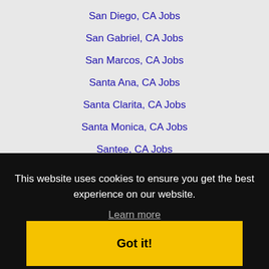San Diego, CA Jobs
San Gabriel, CA Jobs
San Marcos, CA Jobs
Santa Ana, CA Jobs
Santa Clarita, CA Jobs
Santa Monica, CA Jobs
Santee, CA Jobs
Simi Valley, CA Jobs
South Gate, CA Jobs
This website uses cookies to ensure you get the best experience on our website.
Learn more
Got it!
Vista, CA Jobs